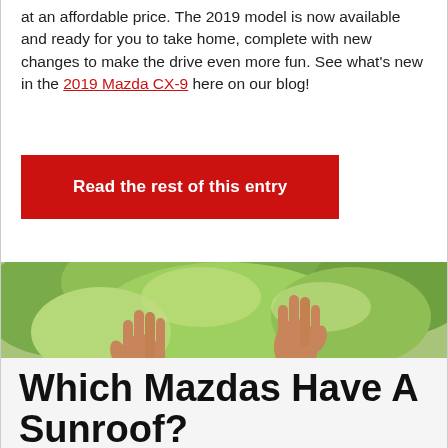at an affordable price. The 2019 model is now available and ready for you to take home, complete with new changes to make the drive even more fun. See what's new in the 2019 Mazda CX-9 here on our blog!
Read the rest of this entry
[Figure (photo): Two hands raised up through an open car sunroof with green trees in the background]
Which Mazdas Have A Sunroof?